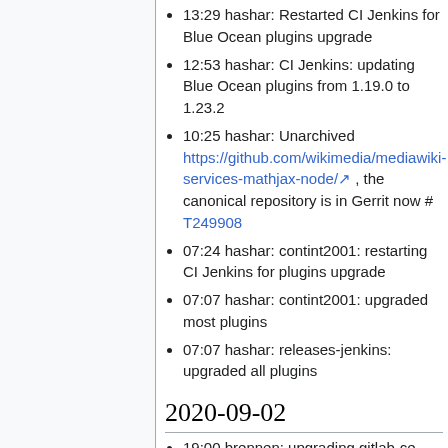13:29 hashar: Restarted CI Jenkins for Blue Ocean plugins upgrade
12:53 hashar: CI Jenkins: updating Blue Ocean plugins from 1.19.0 to 1.23.2
10:25 hashar: Unarchived https://github.com/wikimedia/mediawiki-services-mathjax-node/ , the canonical repository is in Gerrit now # T249908
07:24 hashar: contint2001: restarting CI Jenkins for plugins upgrade
07:07 hashar: contint2001: upgraded most plugins
07:07 hashar: releases-jenkins: upgraded all plugins
2020-09-02
19:00 brennen: upgrading gitlab-ce